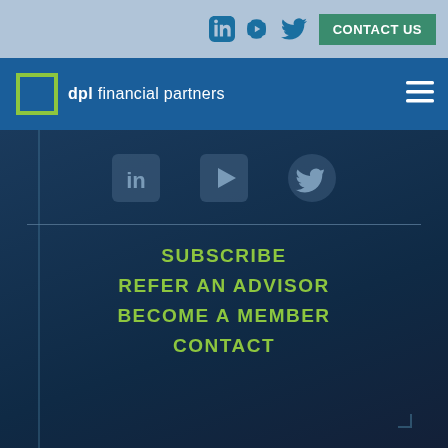Social icons: LinkedIn, YouTube, Twitter | CONTACT US
[Figure (logo): DPL Financial Partners logo with bracket icon and text]
[Figure (infographic): Social media icons: LinkedIn, YouTube, Twitter in dark background area]
SUBSCRIBE
REFER AN ADVISOR
BECOME A MEMBER
CONTACT